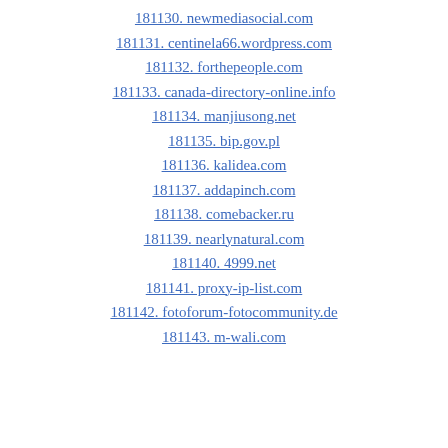181130. newmediasocial.com
181131. centinela66.wordpress.com
181132. forthepeople.com
181133. canada-directory-online.info
181134. manjiusong.net
181135. bip.gov.pl
181136. kalidea.com
181137. addapinch.com
181138. comebacker.ru
181139. nearlynatural.com
181140. 4999.net
181141. proxy-ip-list.com
181142. fotoforum-fotocommunity.de
181143. m-wali.com